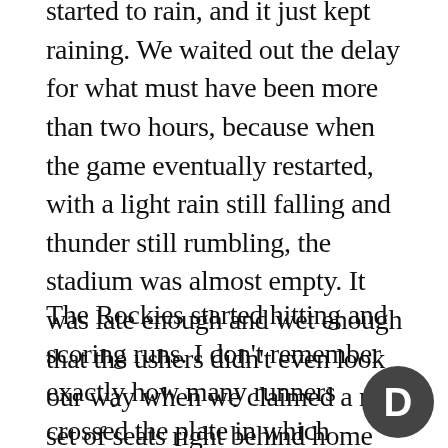started to rain, and it just kept raining. We waited out the delay for what must have been more than two hours, because when the game eventually restarted, with a light rain still falling and thunder still rumbling, the stadium was almost empty. It was late enough and wet enough that the ushers didn't even look our way when we claimed a new set of seats right behind home plate. And from there is where we saw it all happen.
The Rockies started hitting and scoring runs. I don't remember exactly how many runners crossed the plate in which inning, but I remember feeling like I was watching something impossible happen. The Rockies had been down by seven, or 10, or maybe even 11 runs when the game went into a delay, and now I was sitting there, just a few feet from the
[Figure (logo): Dark circular logo with white letter D]